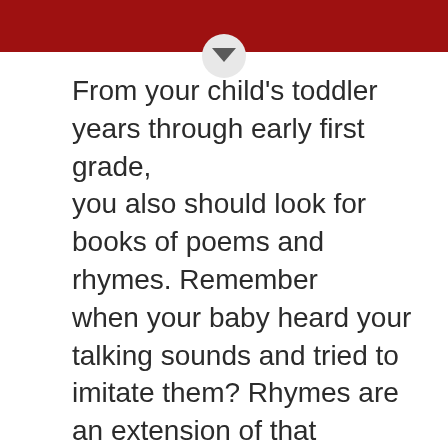[Figure (other): Dark red header bar with a downward chevron/arrow icon centered at the bottom edge]
From your child's toddler years through early first grade, you also should look for books of poems and rhymes. Remember when your baby heard your talking sounds and tried to imitate them? Rhymes are an extension of that language skill. By hearing and saying rhymes, along with repeated words and phrases, your child learns about spoken sounds and about words. Rhymes also spark a child's excitement about what comes next, which adds fun and adventure to